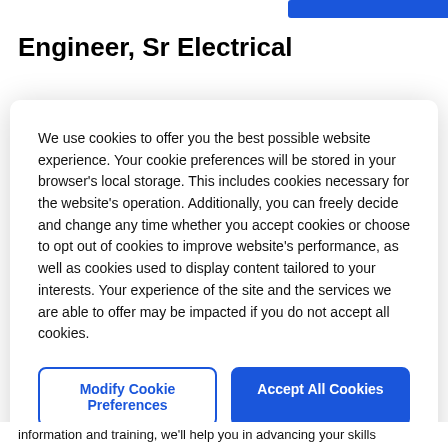Engineer, Sr Electrical
We use cookies to offer you the best possible website experience. Your cookie preferences will be stored in your browser's local storage. This includes cookies necessary for the website's operation. Additionally, you can freely decide and change any time whether you accept cookies or choose to opt out of cookies to improve website's performance, as well as cookies used to display content tailored to your interests. Your experience of the site and the services we are able to offer may be impacted if you do not accept all cookies.
Modify Cookie Preferences
Accept All Cookies
information and training, we'll help you in advancing your skills